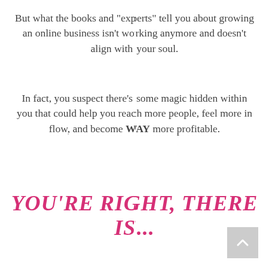But what the books and "experts" tell you about growing an online business isn't working anymore and doesn't align with your soul.
In fact, you suspect there's some magic hidden within you that could help you reach more people, feel more in flow, and become WAY more profitable.
YOU'RE RIGHT, THERE IS...